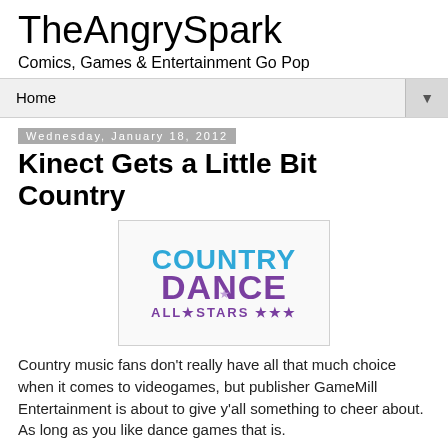TheAngrySpark
Comics, Games & Entertainment Go Pop
Home
Wednesday, January 18, 2012
Kinect Gets a Little Bit Country
[Figure (logo): Country Dance All-Stars logo with blue and purple stylized text]
Country music fans don't really have all that much choice when it comes to videogames, but publisher GameMill Entertainment is about to give y'all something to cheer about. As long as you like dance games that is.